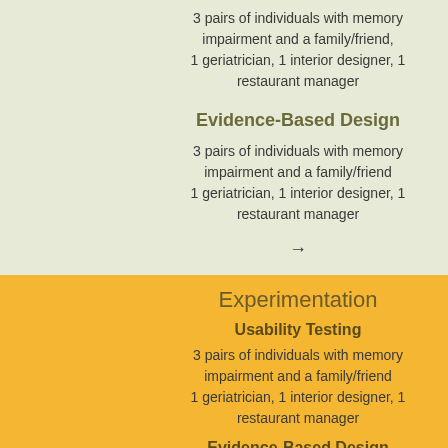3 pairs of individuals with memory impairment and a family/friend, 1 geriatrician, 1 interior designer, 1 restaurant manager
Evidence-Based Design
3 pairs of individuals with memory impairment and a family/friend 1 geriatrician, 1 interior designer, 1 restaurant manager
→
Experimentation
Usability Testing
3 pairs of individuals with memory impairment and a family/friend 1 geriatrician, 1 interior designer, 1 restaurant manager
Evidence-Based Design